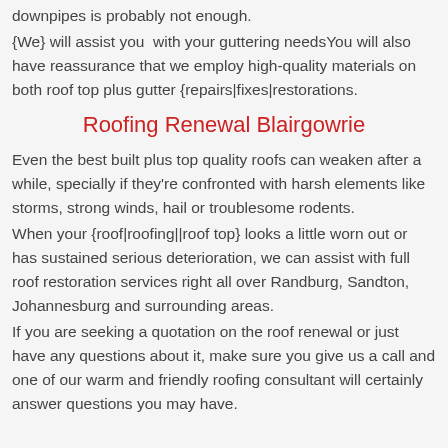downpipes is probably not enough.
{We} will assist you  with your guttering needsYou will also have reassurance that we employ high-quality materials on both roof top plus gutter {repairs|fixes|restorations.
Roofing Renewal Blairgowrie
Even the best built plus top quality roofs can weaken after a while, specially if they're confronted with harsh elements like storms, strong winds, hail or troublesome rodents.
When your {roof|roofing||roof top} looks a little worn out or has sustained serious deterioration, we can assist with full roof restoration services right all over Randburg, Sandton, Johannesburg and surrounding areas.
If you are seeking a quotation on the roof renewal or just have any questions about it, make sure you give us a call and one of our warm and friendly roofing consultant will certainly answer questions you may have.